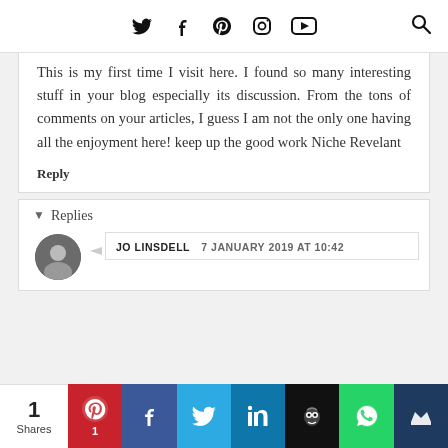Social media navigation icons and search
This is my first time I visit here. I found so many interesting stuff in your blog especially its discussion. From the tons of comments on your articles, I guess I am not the only one having all the enjoyment here! keep up the good work Niche Revelant
Reply
Replies
JO LINSDELL  7 JANUARY 2019 AT 10:42